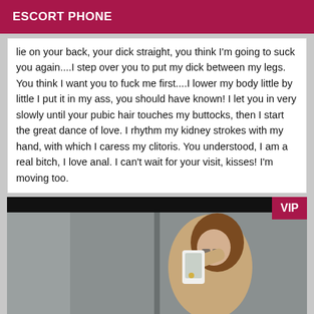ESCORT PHONE
lie on your back, your dick straight, you think I'm going to suck you again....I step over you to put my dick between my legs. You think I want you to fuck me first....I lower my body little by little I put it in my ass, you should have known! I let you in very slowly until your pubic hair touches my buttocks, then I start the great dance of love. I rhythm my kidney strokes with my hand, with which I caress my clitoris. You understood, I am a real bitch, I love anal. I can't wait for your visit, kisses! I'm moving too.
[Figure (photo): Person taking a selfie in a mirror, holding a white phone/camera, with brown hair, in what appears to be a fitting room or corridor. Black bar at top. VIP badge in top right corner.]